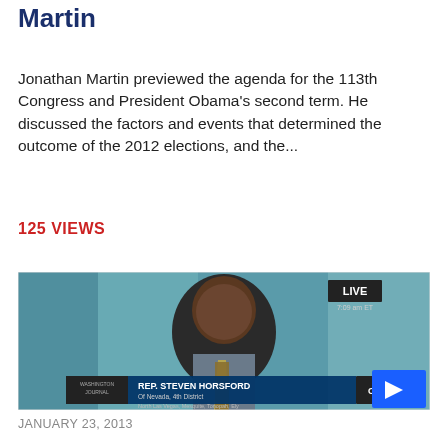Martin
Jonathan Martin previewed the agenda for the 113th Congress and President Obama's second term. He discussed the factors and events that determined the outcome of the 2012 elections, and the...
125 VIEWS
[Figure (screenshot): Video screenshot showing Rep. Steven Horsford from Nevada 4th District, North Las Vegas, Mesquite, Tonopah, Ely on C-SPAN with a LIVE banner showing 7:09 am ET. A blue play button overlay is visible in the lower right corner.]
JANUARY 23, 2013